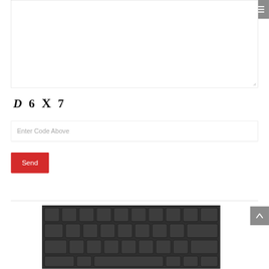[Figure (screenshot): Textarea input box with resize handle in bottom-right corner, and hamburger menu icon button in top-right corner]
D 6 X 7
Enter Code Above
[Figure (screenshot): Red Send button]
[Figure (photo): Close-up photo of dark keyboard keys in grayscale/dark tone]